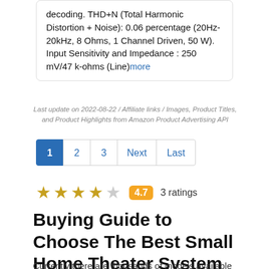decoding. THD+N (Total Harmonic Distortion + Noise): 0.06 percentage (20Hz-20kHz, 8 Ohms, 1 Channel Driven, 50 W). Input Sensitivity and Impedance : 250 mV/47 k-ohms (Line)more
Last update on 2022-08-22 / Affiliate links / Images, Product Titles, and Product Highlights from Amazon Product Advertising API
[Figure (other): Pagination bar with buttons: 1 (active/blue), 2, 3, Next, Last]
[Figure (other): Star rating: 4 filled stars, 1 empty star. Rating badge: 4.7. 3 ratings.]
Buying Guide to Choose The Best Small Home Theater System  In 2022
Currently there are thousands of models available